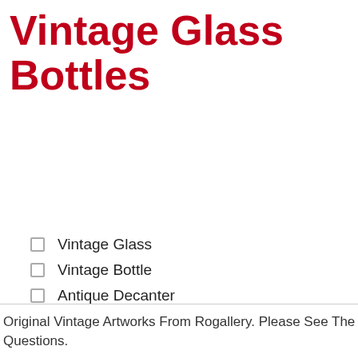Vintage Glass Bottles
Vintage Glass
Vintage Bottle
Antique Decanter
Glass Decanter
Porcelain Decanter
Antique Bottle
Original Vintage Artworks From Rogallery. Please See The Listed Item Specifics Above For The Details And Message Us With Any Questions.